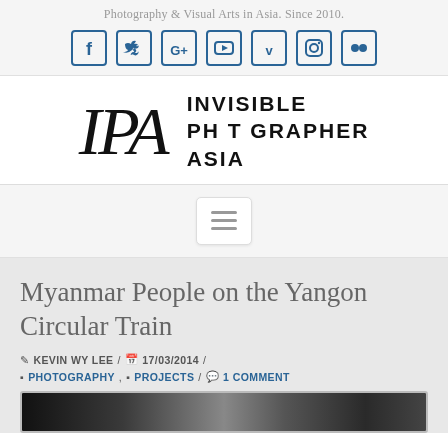Photography & Visual Arts in Asia. Since 2010.
[Figure (other): Social media icons: Facebook, Twitter, Google+, YouTube, Vimeo, Instagram, Flickr — shown as outlined square icons in dark blue]
[Figure (logo): IPA logo with large italic serif IPA text and bold sans-serif INVISIBLE PHOTOGRAPHER ASIA text]
[Figure (other): Hamburger menu button (three horizontal lines) inside a rounded rectangle]
Myanmar People on the Yangon Circular Train
KEVIN WY LEE / 17/03/2014 /
PHOTOGRAPHY, PROJECTS / 1 COMMENT
[Figure (photo): Partial preview of a black and white photograph, bottom of page]